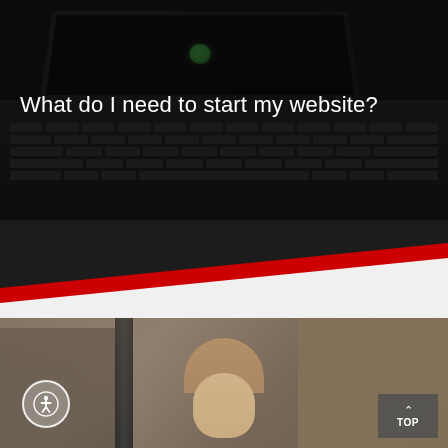[Figure (photo): Dark-toned hero image of a laptop keyboard with screen visible, overlaid with a dark tint]
What do I need to start my website?
[Figure (illustration): Diagonal section divider with dark top, red stripe, and white/light gray bottom]
[Figure (photo): Photo of a woman with blonde hair working at a desk, blurred background with bokeh effect]